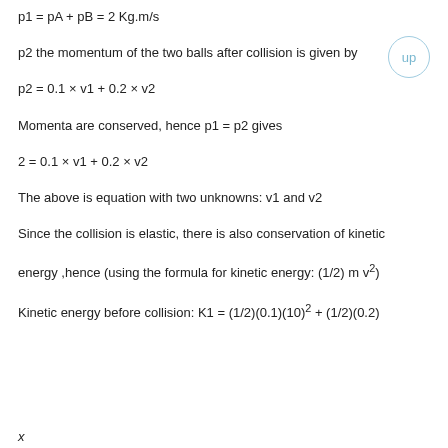p2 the momentum of the two balls after collision is given by
Momenta are conserved, hence p1 = p2 gives
The above is equation with two unknowns: v1 and v2
Since the collision is elastic, there is also conservation of kinetic
energy ,hence (using the formula for kinetic energy: (1/2) m v²)
Kinetic energy before collision: K1 = (1/2)(0.1)(10)² + (1/2)(0.2)
x